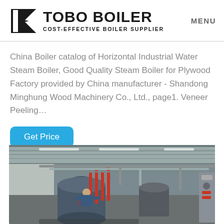TOBO BOILER — COST-EFFECTIVE BOILER SUPPLIER | MENU
China Boiler catalog of Horizontal Industrial Water Steam Boiler, Good Quality Steam Boiler for Plywood Factory provided by China manufacturer - Shandong Minghung Wood Machinery Co., Ltd., page1. Veneer Peeling…
Get Price
[Figure (photo): Industrial boiler room interior showing large cylindrical steam boilers with red pipe fittings and overhead pipe systems, with a worker in blue uniform visible in the foreground.]